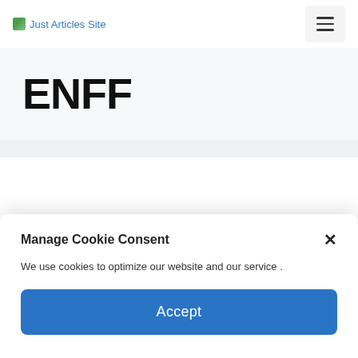Just Articles Site
ENFF
Manage Cookie Consent
We use cookies to optimize our website and our service .
Accept